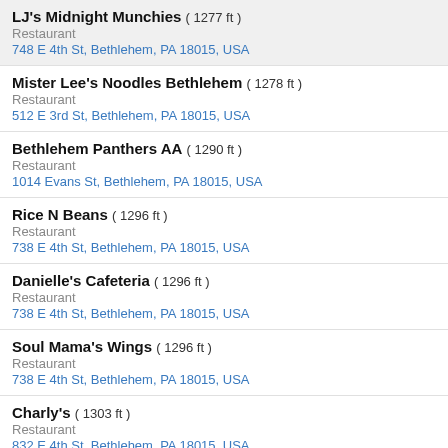LJ's Midnight Munchies ( 1277 ft )
Restaurant
748 E 4th St, Bethlehem, PA 18015, USA
Mister Lee's Noodles Bethlehem ( 1278 ft )
Restaurant
512 E 3rd St, Bethlehem, PA 18015, USA
Bethlehem Panthers AA ( 1290 ft )
Restaurant
1014 Evans St, Bethlehem, PA 18015, USA
Rice N Beans ( 1296 ft )
Restaurant
738 E 4th St, Bethlehem, PA 18015, USA
Danielle's Cafeteria ( 1296 ft )
Restaurant
738 E 4th St, Bethlehem, PA 18015, USA
Soul Mama's Wings ( 1296 ft )
Restaurant
738 E 4th St, Bethlehem, PA 18015, USA
Charly's ( 1303 ft )
Restaurant
832 E 4th St, Bethlehem, PA 18015, USA
Charly's Thai ( 1303 ft )
Restaurant
832 E 4th St, Bethlehem, PA 18015, USA